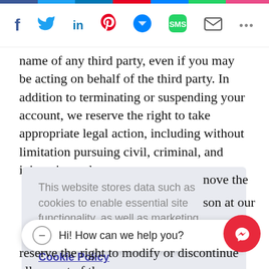[Figure (other): Social sharing icons bar: Facebook, Twitter, LinkedIn, Pinterest, Messenger, SMS, Email, and more (...)]
name of any third party, even if you may be acting on behalf of the third party. In addition to terminating or suspending your account, we reserve the right to take appropriate legal action, including without limitation pursuing civil, criminal, and injunctive redress.
This website stores data such as cookies to enable essential site functionality, as well as marketing, personalization, and analytics.
Cookie Policy
Hi! How can we help you?
reserve the right to modify or discontinue all or part of the